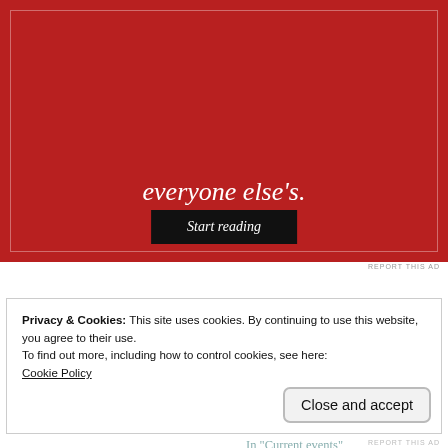[Figure (other): Red advertisement banner with italic text 'everyone else's.' and a black 'Start reading' button]
REPORT THIS AD
Related
Brexit: A German Perspective
September 30, 2016
Comm(Unity) Weekly: MUN Closing Ceremonies
December 14, 2020
In "Current events"
Privacy & Cookies: This site uses cookies. By continuing to use this website, you agree to their use.
To find out more, including how to control cookies, see here:
Cookie Policy
Close and accept
REPORT THIS AD